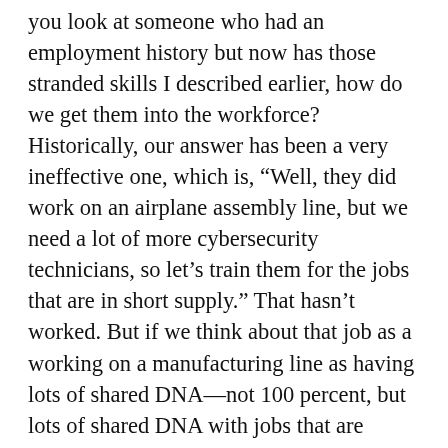you look at someone who had an employment history but now has those stranded skills I described earlier, how do we get them into the workforce? Historically, our answer has been a very ineffective one, which is, "Well, they did work on an airplane assembly line, but we need a lot of more cybersecurity technicians, so let's train them for the jobs that are in short supply." That hasn't worked. But if we think about that job as a working on a manufacturing line as having lots of shared DNA—not 100 percent, but lots of shared DNA with jobs that are growing—how do we build those bridges? Finally, how do we... I would very much like to have people explain to me why the market for labor has such lousy information flows and inaccurate information flows. What would be the highest impact improvements, whether it's skills providers publishing more results data or employers providing more feedback to applicants as to what they were missing. If we could just get some more insight into that we might